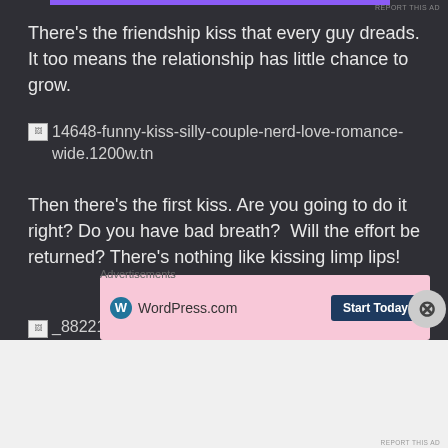There’s the friendship kiss that every guy dreads. It too means the relationship has little chance to grow.
[Figure (photo): Broken image placeholder for '14648-funny-kiss-silly-couple-nerd-love-romance-wide.1200w.tn']
Then there’s the first kiss. Are you going to do it right? Do you have bad breath?  Will the effort be returned? There’s nothing like kissing limp lips!
[Figure (photo): Broken image placeholder for '_88221620_kiss']
Advertisements
[Figure (screenshot): WordPress.com advertisement with 'Start Today' button]
Advertisements
[Figure (screenshot): Automattic advertisement: 'Love working again.']